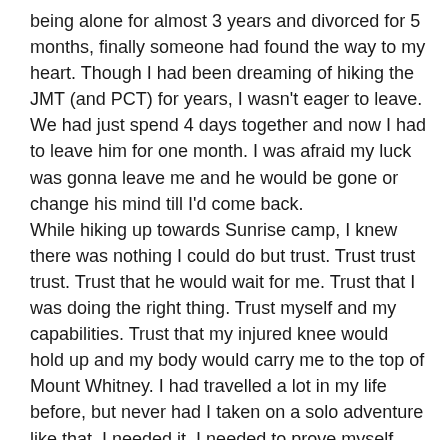being alone for almost 3 years and divorced for 5 months, finally someone had found the way to my heart. Though I had been dreaming of hiking the JMT (and PCT) for years, I wasn't eager to leave. We had just spend 4 days together and now I had to leave him for one month. I was afraid my luck was gonna leave me and he would be gone or change his mind till I'd come back. While hiking up towards Sunrise camp, I knew there was nothing I could do but trust. Trust trust trust. Trust that he would wait for me. Trust that I was doing the right thing. Trust myself and my capabilities. Trust that my injured knee would hold up and my body would carry me to the top of Mount Whitney. I had travelled a lot in my life before, but never had I taken on a solo adventure like that. I needed it. I needed to prove myself that I could trust myself, that I was strong, that I could survive on my own.